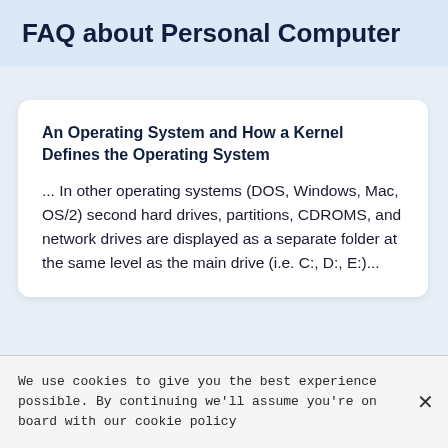FAQ about Personal Computer
An Operating System and How a Kernel Defines the Operating System
... In other operating systems (DOS, Windows, Mac, OS/2) second hard drives, partitions, CDROMS, and network drives are displayed as a separate folder at the same level as the main drive (i.e. C:, D:, E:)...
We use cookies to give you the best experience possible. By continuing we'll assume you're on board with our cookie policy